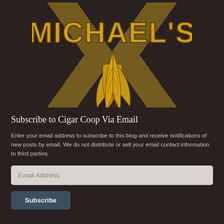[Figure (logo): Michael's cigar brand logo: large golden/yellow text 'MICHAEL'S' with a decorative X shape in muted gold behind it, and three tobacco leaves hanging below.]
Subscribe to Cigar Coop Via Email
Enter your email address to subscribe to this blog and receive notifications of new posts by email. We do not distribute or sell your email contact information to third parties.